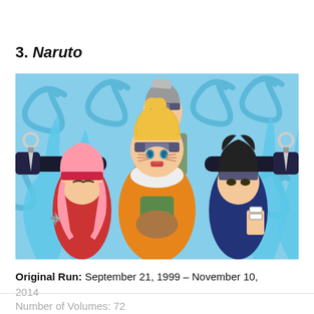3. Naruto
[Figure (illustration): Manga-style illustration showing three Naruto characters: Naruto Uzumaki in the center with arms spread wide holding kunai, Sakura Haruno on the left, and Sasuke Uchiha on the right, with Kakashi in the background, all set against a blue swirling background.]
Original Run: September 21, 1999 – November 10, 2014
Number of Volumes: 72